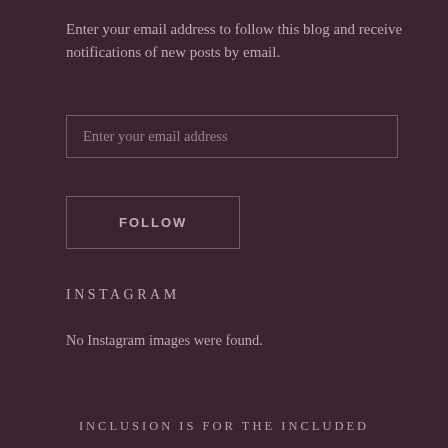Enter your email address to follow this blog and receive notifications of new posts by email.
Enter your email address
FOLLOW
INSTAGRAM
No Instagram images were found.
INCLUSION IS FOR THE INCLUDED